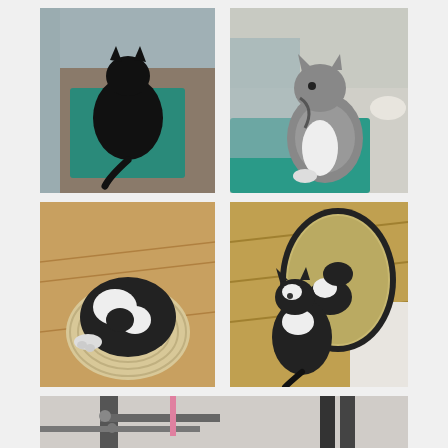[Figure (photo): Black cat viewed from above, sitting in front of a shower enclosure on a teal bath mat, bathroom floor visible]
[Figure (photo): Black and white tabby cat sitting sideways on a teal bath mat in a bathroom, shower enclosure and toilet in background]
[Figure (photo): Black and white cat curled up sleeping on top of a beige cat scratcher/bed, viewed from above on wooden floor]
[Figure (photo): Black and white cat sitting in front of a round mirror on wooden floor, reflection visible in mirror]
[Figure (photo): Partial view of cat with exercise or mechanical equipment, bottom portion of image cut off]